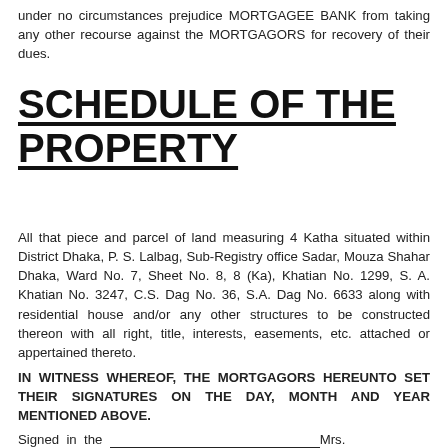under no circumstances prejudice MORTGAGEE BANK from taking any other recourse against the MORTGAGORS for recovery of their dues.
SCHEDULE OF THE PROPERTY
All that piece and parcel of land measuring 4 Katha situated within District Dhaka, P. S. Lalbag, Sub-Registry office Sadar, Mouza Shahar Dhaka, Ward No. 7, Sheet No. 8, 8 (Ka), Khatian No. 1299, S. A. Khatian No. 3247, C.S. Dag No. 36, S.A. Dag No. 6633 along with residential house and/or any other structures to be constructed thereon with all right, title, interests, easements, etc. attached or appertained thereto.
IN WITNESS WHEREOF, THE MORTGAGORS HEREUNTO SET THEIR SIGNATURES ON THE DAY, MONTH AND YEAR MENTIONED ABOVE.
Signed in the ________________________________Mrs. presence of C.